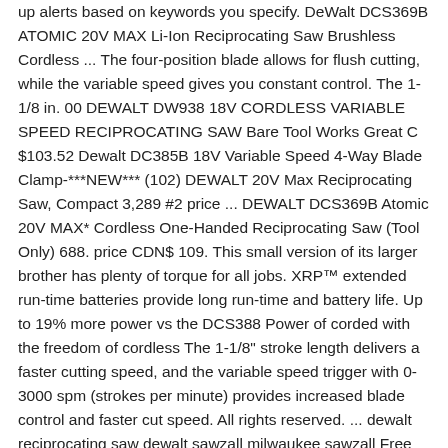up alerts based on keywords you specify. DeWalt DCS369B ATOMIC 20V MAX Li-Ion Reciprocating Saw Brushless Cordless ... The four-position blade allows for flush cutting, while the variable speed gives you constant control. The 1-1/8 in. 00 DEWALT DW938 18V CORDLESS VARIABLE SPEED RECIPROCATING SAW Bare Tool Works Great C $103.52 Dewalt DC385B 18V Variable Speed 4-Way Blade Clamp-***NEW*** (102) DEWALT 20V Max Reciprocating Saw, Compact 3,289 #2 price ... DEWALT DCS369B Atomic 20V MAX* Cordless One-Handed Reciprocating Saw (Tool Only) 688. price CDN$ 109. This small version of its larger brother has plenty of torque for all jobs. XRP™ extended run-time batteries provide long run-time and battery life. Up to 19% more power vs the DCS388 Power of corded with the freedom of cordless The 1-1/8" stroke length delivers a faster cutting speed, and the variable speed trigger with 0-3000 spm (strokes per minute) provides increased blade control and faster cut speed. All rights reserved. ... dewalt reciprocating saw dewalt sawzall milwaukee sawzall Free